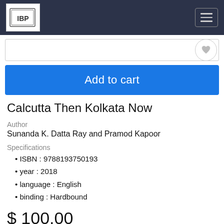IBP logo and navigation header
[Figure (screenshot): Search input field with heart/wishlist button]
[Figure (screenshot): Add to cart blue button]
Calcutta Then Kolkata Now
Author
Sunanda K. Datta Ray and Pramod Kapoor
Specifications
ISBN : 9788193750193
year : 2018
language : English
binding : Hardbound
$ 100.00